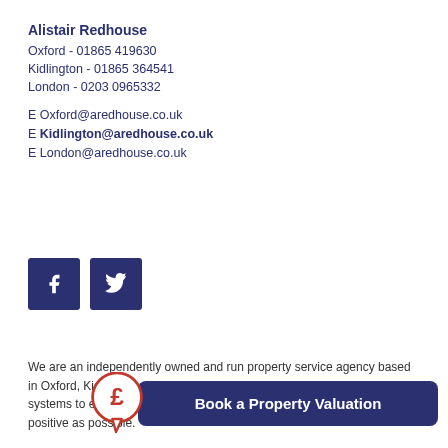Alistair Redhouse
Oxford - 01865 419630
Kidlington - 01865 364541
London - 0203 0965332
E Oxford@aredhouse.co.uk
E Kidlington@aredhouse.co.uk
E London@aredhouse.co.uk
[Figure (illustration): Facebook and Twitter social media icon buttons in dark navy blue]
We are an independently owned and run property service agency based in Oxford, Kidlington and London. We use the latest technology and systems to ensure that your property experience is as smooth and positive as possible.
[Figure (infographic): Red pound sign circle icon with Book a Property Valuation button in dark navy]